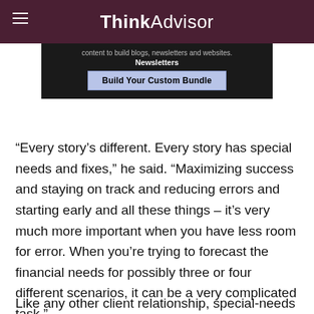ThinkAdvisor
[Figure (screenshot): Advertisement banner with text 'content to build blogs, newsletters and websites.' and 'Newsletters' label, with a 'Build Your Custom Bundle' button]
“Every story’s different. Every story has special needs and fixes,” he said. “Maximizing success and staying on track and reducing errors and starting early and all these things – it’s very much more important when you have less room for error. When you’re trying to forecast the financial needs for possibly three or four different scenarios, it can be a very complicated task.”
Like any other client relationship, special-needs